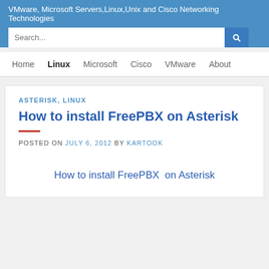VMware, Microsoft Servers,Linux,Unix and Cisco Networking Technologies
Search...
Home | Linux | Microsoft | Cisco | VMware | About
ASTERISK, LINUX
How to install FreePBX on Asterisk
POSTED ON JULY 6, 2012 BY KARTOOK
[Figure (infographic): Text graphic reading: How to install FreePBX on Asterisk]